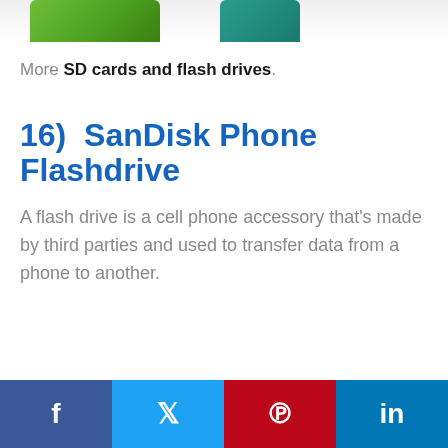[Figure (photo): Partial top view of product images (SD cards or flash drives), cropped at top edge]
More SD cards and flash drives.
16)  SanDisk Phone Flashdrive
A flash drive is a cell phone accessory that's made by third parties and used to transfer data from a phone to another.
Social share buttons: Facebook, Twitter, Pinterest, LinkedIn